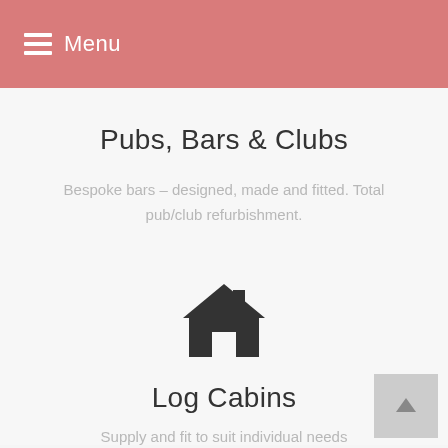Menu
Pubs, Bars & Clubs
Bespoke bars – designed, made and fitted. Total pub/club refurbishment.
[Figure (illustration): House/home icon in dark gray]
Log Cabins
Supply and fit to suit individual needs